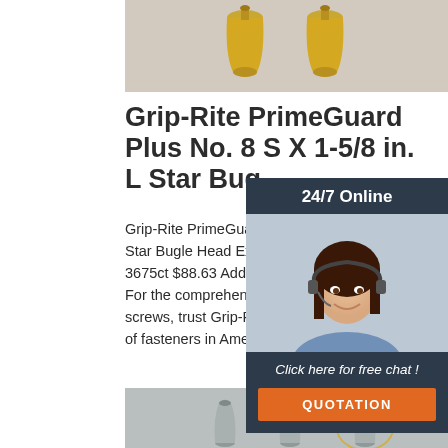[Figure (photo): Top photo showing gold/brass bell-shaped decorative objects on a light background]
Grip-Rite PrimeGuard Plus No. 8 S X 1-5/8 in. L Star Bugle Head Exterior Deck Screws
Grip-Rite PrimeGuard Plus No. 8 S X 1-5/8 in. L Star Bugle Head Exterior Deck Screws 25 lb 3675ct $88.63 Add to Cart Product Overview For the comprehensive selection of nails and screws, trust Grip-Rite, the most popular brand of fasteners in America.
[Figure (photo): Overlay panel with 24/7 Online support agent photo and click for free chat / quotation button]
Get Price
[Figure (photo): Bottom photo showing silver/zinc screw fasteners on a light background]